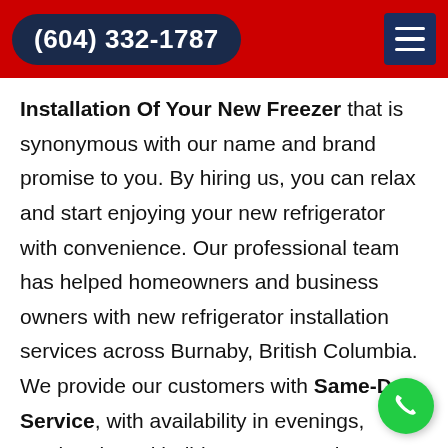(604) 332-1787
Installation Of Your New Freezer that is synonymous with our name and brand promise to you. By hiring us, you can relax and start enjoying your new refrigerator with convenience. Our professional team has helped homeowners and business owners with new refrigerator installation services across Burnaby, British Columbia. We provide our customers with Same-Day Service, with availability in evenings, weekends and holidays. We are always ready to help you fix and install your Blomberg appliances across Burnaby, British Columbia.